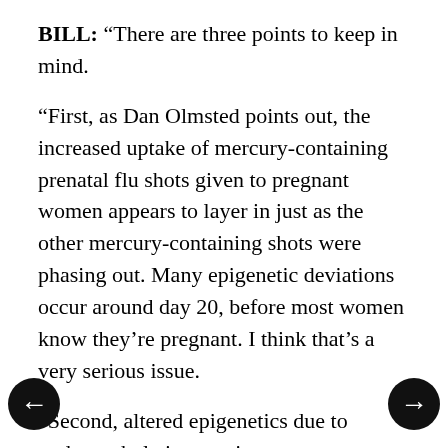BILL: “There are three points to keep in mind.

“First, as Dan Olmsted points out, the increased uptake of mercury-containing prenatal flu shots given to pregnant women appears to layer in just as the other mercury-containing shots were phasing out. Many epigenetic deviations occur around day 20, before most women know they’re pregnant. I think that’s a very serious issue.

“Second, altered epigenetics due to undermethylation persists across generations, and most great athletes, doctors, lawyers, and CEOs are undermethylated. Put undermethylated men and women together, which is inevitable in our increasingly stratified society, and that’s